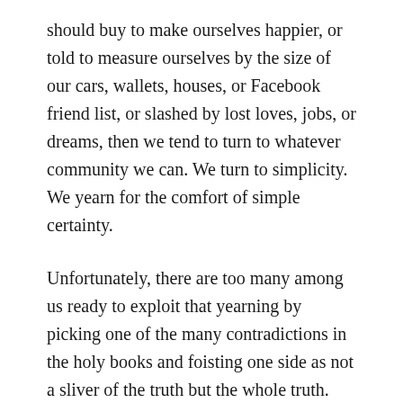should buy to make ourselves happier, or told to measure ourselves by the size of our cars, wallets, houses, or Facebook friend list, or slashed by lost loves, jobs, or dreams, then we tend to turn to whatever community we can. We turn to simplicity. We yearn for the comfort of simple certainty.
Unfortunately, there are too many among us ready to exploit that yearning by picking one of the many contradictions in the holy books and foisting one side as not a sliver of the truth but the whole truth. The Bible says love everyone but it also says homosexuality is wrong. The Koran says love everyone but it also demands no mercy toward one’s enemy in a time of war.
Donald Trump promotes simple answers to complex